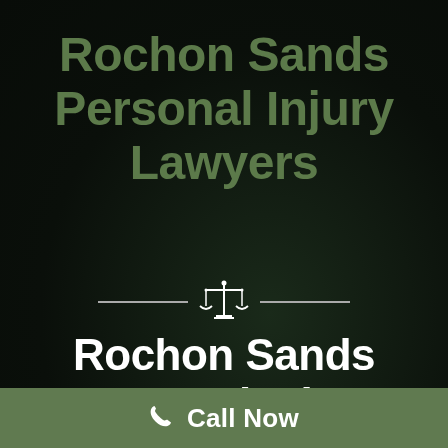Rochon Sands Personal Injury Lawyers
[Figure (illustration): Scales of justice icon with decorative horizontal lines on each side]
Rochon Sands Personal Injury
Call Now